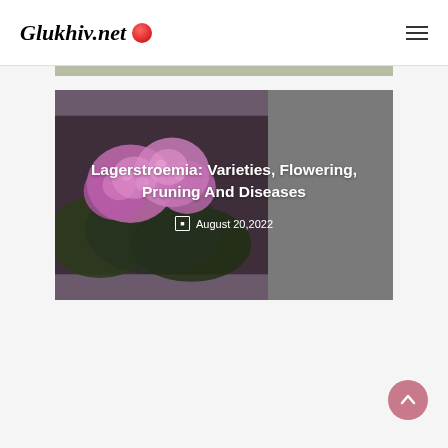Glukhiv.net
[Figure (photo): Hero image of Lagerstroemia pink flowering clusters with dark foliage background, left portion is photo, right portion is grey panel overlay]
Lagerstroemia: Varieties, Flowering, Pruning And Diseases
August 20,2022